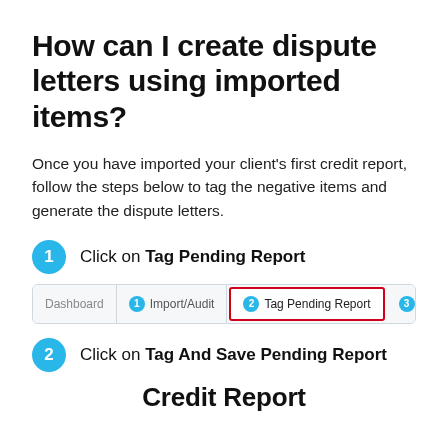How can I create dispute letters using imported items?
Once you have imported your client's first credit report, follow the steps below to tag the negative items and generate the dispute letters.
1 Click on Tag Pending Report
[Figure (screenshot): Navigation bar showing tabs: Dashboard, 1 Import/Audit, 2 Tag Pending Report (highlighted with red border), 3 Generate Letters]
2 Click on Tag And Save Pending Report
Credit Report